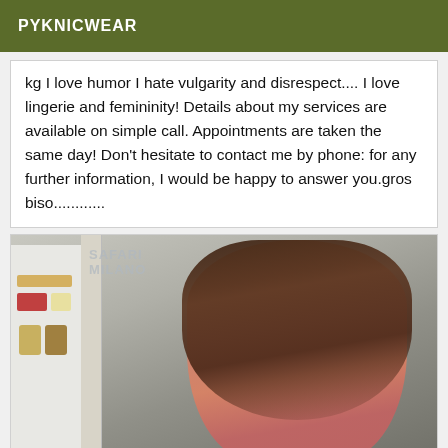PYKNICWEAR
kg I love humor I hate vulgarity and disrespect.... I love lingerie and femininity! Details about my services are available on simple call. Appointments are taken the same day! Don't hesitate to contact me by phone: for any further information, I would be happy to answer you.gros biso............
[Figure (photo): A woman taking a selfie in a mirror, wearing a pink patterned top, with long dark hair, in a room with white shelving unit visible in the background. Text 'SAFARI MILANO' visible in upper left.]